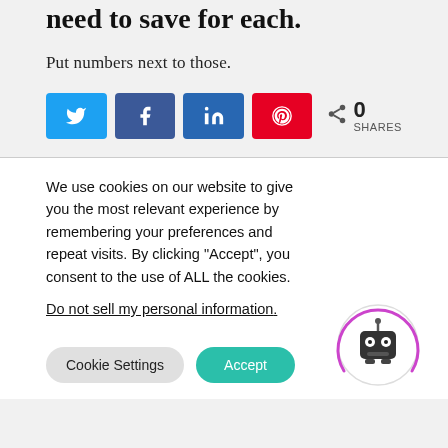need to save for each.
Put numbers next to those.
[Figure (other): Social share buttons: Twitter (blue), Facebook (blue), LinkedIn (dark blue), Pinterest (red), and a share icon with count 0 SHARES]
We use cookies on our website to give you the most relevant experience by remembering your preferences and repeat visits. By clicking “Accept”, you consent to the use of ALL the cookies.
Do not sell my personal information.
[Figure (illustration): Cookie consent robot mascot icon with purple arc border]